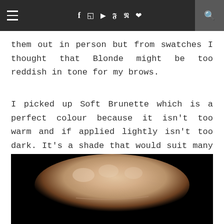≡  f  ⊡  ▶  𝐲  𝐩  ♥  🔍
them out in person but from swatches I thought that Blonde might be too reddish in tone for my brows.
I picked up Soft Brunette which is a perfect colour because it isn't too warm and if applied lightly isn't too dark. It's a shade that would suit many brows as it is a bit ashy and very brow-like in colour.
[Figure (photo): A close-up photo of a pale hand/wrist against a black background, showing a skin swatch of a product applied to the back of the hand.]